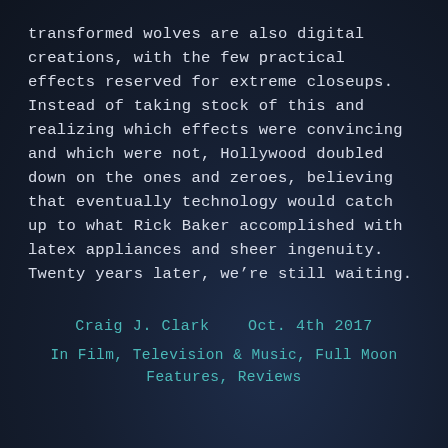transformed wolves are also digital creations, with the few practical effects reserved for extreme closeups. Instead of taking stock of this and realizing which effects were convincing and which were not, Hollywood doubled down on the ones and zeroes, believing that eventually technology would catch up to what Rick Baker accomplished with latex appliances and sheer ingenuity. Twenty years later, we’re still waiting.
Craig J. Clark    Oct. 4th 2017
In Film, Television & Music, Full Moon Features, Reviews